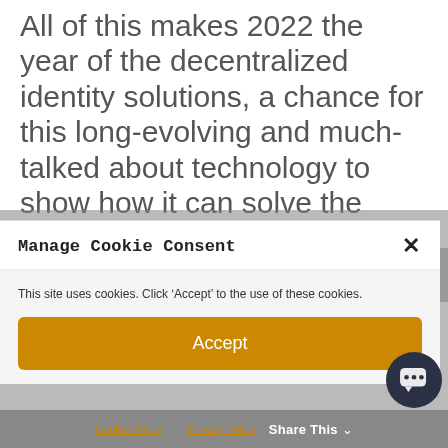All of this makes 2022 the year of the decentralized identity solutions, a chance for this long-evolving and much-talked about technology to show how it can solve the verification problems inherent in Web 2.0 and create trust in Web 3.0.
Manage Cookie Consent
This site uses cookies. Click 'Accept' to the use of these cookies.
Accept
Cookie Policy   Privacy Policy   Share This